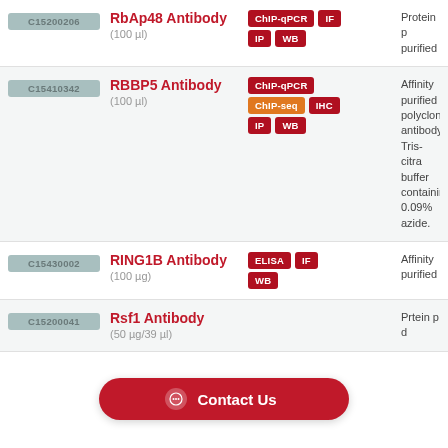| Cat ID | Product | Applications | Description |
| --- | --- | --- | --- |
| C15200206 | RbAp48 Antibody (100 µl) | ChIP-qPCR, IF, IP, WB | Protein purified |
| C15410342 | RBBP5 Antibody (100 µl) | ChIP-qPCR, ChIP-seq, IHC, IP, WB | Affinity purified polyclonal antibody. Tris-citrate buffer containing 0.09% azide. |
| C15430002 | RING1B Antibody (100 µg) | ELISA, IF, WB | Affinity purified |
| C15200041 | Rsf1 Antibody (50 µg/39 µl) |  | Protein purified |
[Figure (other): Contact Us chat button overlay at bottom of page]